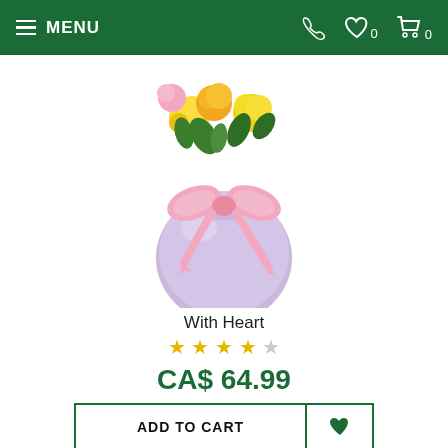MENU | phone icon | heart 0 | cart 0
[Figure (photo): Round purple vase with pink bow ribbon holding yellow and colorful roses arrangement]
With Heart
★★★★☆
CA$ 64.99
ADD TO CART
[Figure (photo): Bouquet of pink roses with green foliage, SALE badge in upper right corner]